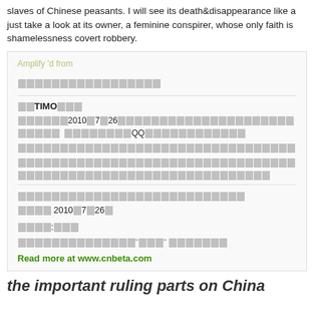slaves of Chinese peasants. I will see its death&disappearance like a just take a look at its owner, a feminine conspirer, whose only faith is shamelessness covert robbery.
Amplify'd from
[Chinese characters - article title]
[Chinese] TIMO [Chinese]
[Chinese text block with date 2010年7月26日 and QQ reference]
[Chinese text block]
[Chinese text block]
[Chinese article title/link]
[Chinese date] 2010年7月26日
[Chinese tag label]: [Chinese tags]
[Chinese related link with quoted text]
Read more at www.cnbeta.com
the important ruling parts on China...